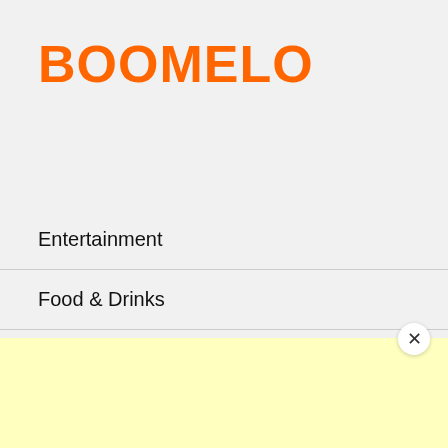[Figure (logo): BOOMELO logo in bold orange text]
Entertainment
Food & Drinks
Beauty & Personal Care
Humour
[Figure (other): Yellow advertisement banner at the bottom of the page]